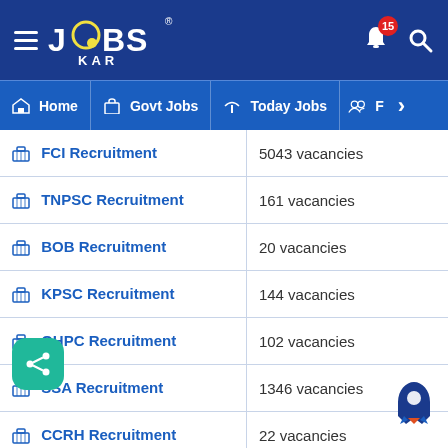JOBS KAR - notification 15
Home | Govt Jobs | Today Jobs | F >
| Recruitment | Vacancies |
| --- | --- |
| FCI Recruitment | 5043 vacancies |
| TNPSC Recruitment | 161 vacancies |
| BOB Recruitment | 20 vacancies |
| KPSC Recruitment | 144 vacancies |
| OHPC Recruitment | 102 vacancies |
| SSA Recruitment | 1346 vacancies |
| CCRH Recruitment | 22 vacancies |
| [N]M Recruitment | 232 vacancies |
| BSF Recruitment | 1635 vacancies |